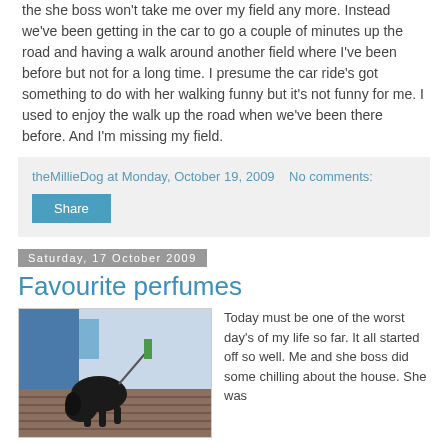the she boss won't take me over my field any more. Instead we've been getting in the car to go a couple of minutes up the road and having a walk around another field where I've been before but not for a long time. I presume the car ride's got something to do with her walking funny but it's not funny for me. I used to enjoy the walk up the road when we've been there before. And I'm missing my field.
theMillieDog at Monday, October 19, 2009   No comments:
Share
Saturday, 17 October 2009
Favourite perfumes
[Figure (photo): A black dog sniffing or looking down at a wooden deck surface, with blue structures visible in the background.]
Today must be one of the worst day's of my life so far. It all started off so well. Me and she boss did some chilling about the house. She was